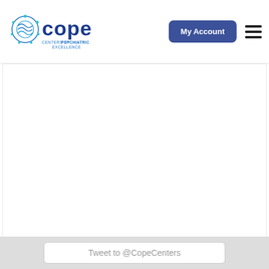[Figure (logo): COPE Centers of Psychiatric Excellence logo with brain icon in teal/blue colors]
My Account
[Figure (other): White content/image area (partially visible, cropped)]
Tweet to @CopeCenters
TOPICS
Anxiety
Bipolar Disorder
Charlotte
Depression